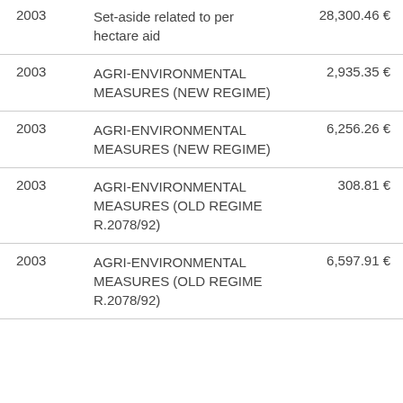| Year | Description | Amount |
| --- | --- | --- |
| 2003 | Set-aside related to per hectare aid | 28,300.46 € |
| 2003 | AGRI-ENVIRONMENTAL MEASURES (NEW REGIME) | 2,935.35 € |
| 2003 | AGRI-ENVIRONMENTAL MEASURES (NEW REGIME) | 6,256.26 € |
| 2003 | AGRI-ENVIRONMENTAL MEASURES (OLD REGIME R.2078/92) | 308.81 € |
| 2003 | AGRI-ENVIRONMENTAL MEASURES (OLD REGIME R.2078/92) | 6,597.91 € |